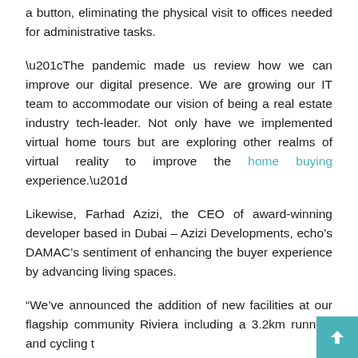a button, eliminating the physical visit to offices needed for administrative tasks.
“The pandemic made us review how we can improve our digital presence. We are growing our IT team to accommodate our vision of being a real estate industry tech-leader. Not only have we implemented virtual home tours but are exploring other realms of virtual reality to improve the home buying experience.”
Likewise, Farhad Azizi, the CEO of award-winning developer based in Dubai – Azizi Developments, echo’s DAMAC’s sentiment of enhancing the buyer experience by advancing living spaces.
“We’ve announced the addition of new facilities at our flagship community Riviera including a 3.2km running and cycling t…